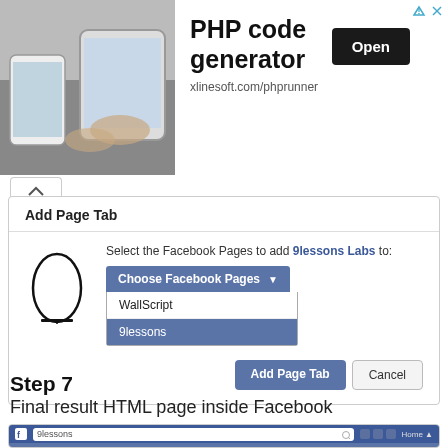[Figure (screenshot): Advertisement banner for PHP code generator by xlinesoft.com/phprunner with an Open button, showing a person using a tablet in background photo.]
[Figure (screenshot): Add Page Tab dialog box: select the Facebook Pages to add 9lessons Labs to. Dropdown showing WallScript and 9lessons (selected). Buttons: Add Page Tab and Cancel.]
Step 7
Final result HTML page inside Facebook
[Figure (screenshot): Facebook page screenshot showing 9lessons page with Wall Script 6.0 tab selected and a person's head visible in content area.]